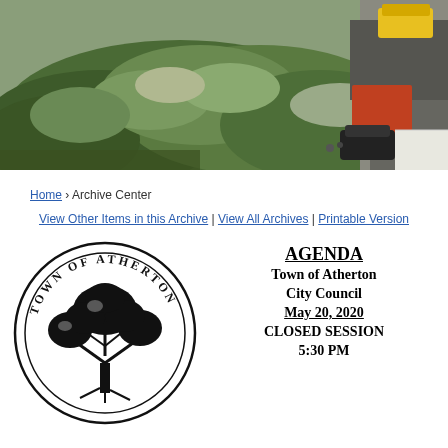[Figure (photo): Aerial photograph of a construction site with large oak trees, a yellow construction vehicle, red barriers, and a black SUV visible from above.]
Home › Archive Center
View Other Items in this Archive | View All Archives | Printable Version
[Figure (logo): Town of Atherton circular seal featuring a large oak tree in the center with 'TOWN OF ATHERTON' text around the border.]
AGENDA
Town of Atherton
City Council
May 20, 2020
CLOSED SESSION
5:30 PM